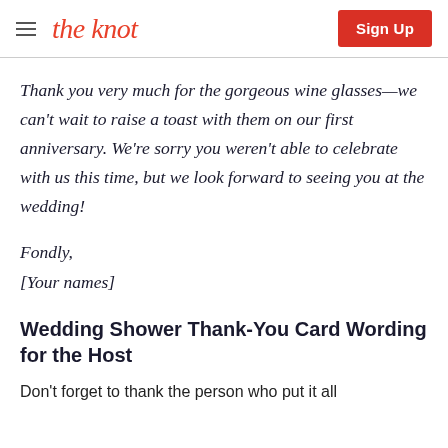the knot | Sign Up
Thank you very much for the gorgeous wine glasses—we can't wait to raise a toast with them on our first anniversary. We're sorry you weren't able to celebrate with us this time, but we look forward to seeing you at the wedding!
Fondly,
[Your names]
Wedding Shower Thank-You Card Wording for the Host
Don't forget to thank the person who put it all